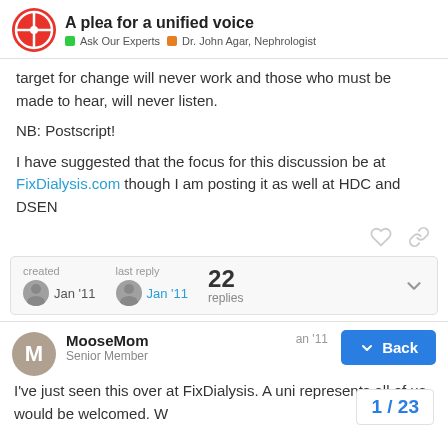A plea for a unified voice | Ask Our Experts | Dr. John Agar, Nephrologist
target for change will never work and those who must be made to hear, will never listen.
NB: Postscript!
I have suggested that the focus for this discussion be at FixDialysis.com though I am posting it as well at HDC and DSEN
created Jan '11   last reply Jan '11   22 replies
MooseMom
Senior Member
I've just seen this over at FixDialysis. A uni represents all of us would be welcomed. W